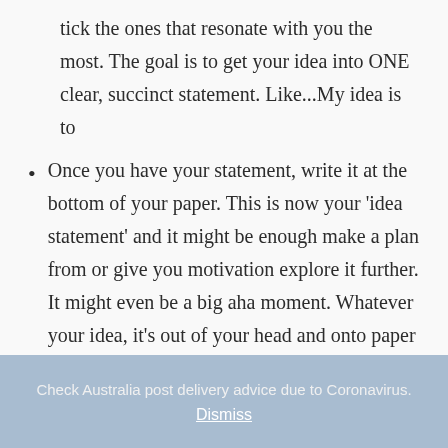tick the ones that resonate with you the most. The goal is to get your idea into ONE clear, succinct statement. Like...My idea is to
Once you have your statement, write it at the bottom of your paper. This is now your ‘idea statement’ and it might be enough make a plan from or give you motivation explore it further. It might even be a big aha moment. Whatever your idea, it’s out of your head and onto paper with the potential to be a goal.
Check Australia post delivery advice due to Coronavirus. Dismiss